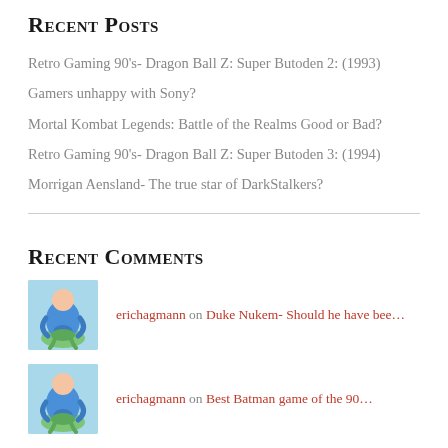Recent Posts
Retro Gaming 90's- Dragon Ball Z: Super Butoden 2: (1993)
Gamers unhappy with Sony?
Mortal Kombat Legends: Battle of the Realms Good or Bad?
Retro Gaming 90's- Dragon Ball Z: Super Butoden 3: (1994)
Morrigan Aensland- The true star of DarkStalkers?
Recent Comments
erichagmann on Duke Nukem- Should he have bee…
erichagmann on Best Batman game of the 90…